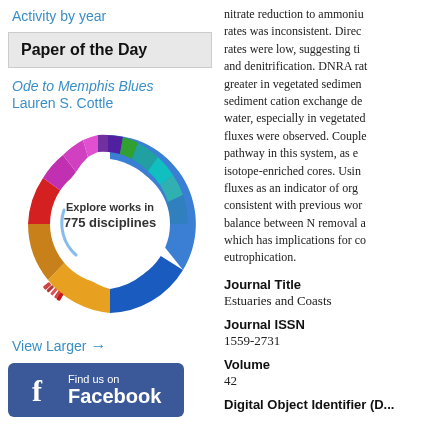Activity by year
Paper of the Day
Ode to Memphis Blues
Lauren S. Cottle
[Figure (donut-chart): Colorful donut/sunburst chart showing works in 775 disciplines, with center text 'Explore works in 775 disciplines']
View Larger →
[Figure (logo): Find us on Facebook logo box]
nitrate reduction to ammonium rates was inconsistent. Direct rates were low, suggesting ti and denitrification. DNRA rat greater in vegetated sedimen sediment cation exchange de water, especially in vegetated fluxes were observed. Couple pathway in this system, as e isotope-enriched cores. Usin fluxes as an indicator of org consistent with previous wor balance between N removal a which has implications for c eutrophication.
Journal Title
Estuaries and Coasts
Journal ISSN
1559-2731
Volume
42
Digital Object Identifier (D...